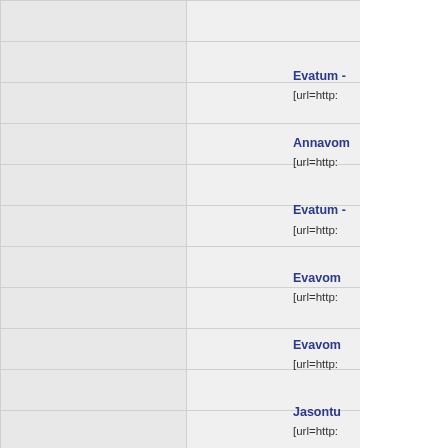|  |  |
|  |  |
|  |  |
|  |  |
|  |  |
|  |  |
|  |  |
|  |  |
|  |  |
|  |  |
|  |  |
Evatum - [url=http:
Annavom - [url=http:
Evatum - [url=http:
Evavom - [url=http:
Evavom - [url=http:
Jasontu - [url=http:
Jimtum - [url=https: